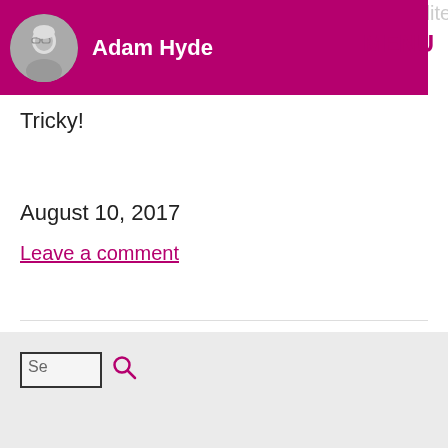Adam Hyde — MENU
Tricky!
August 10, 2017
Leave a comment
Se [search box]
Newsletter
E-mail [input field]
Subscribe! [button]